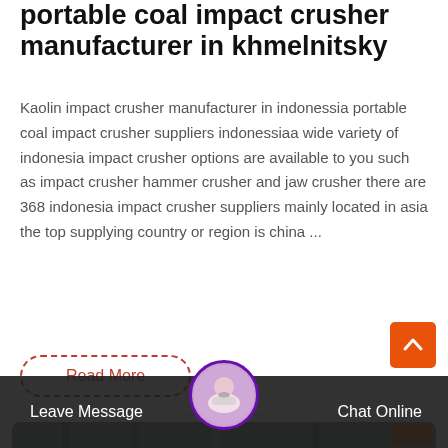portable coal impact crusher manufacturer in khmelnitsky
Kaolin impact crusher manufacturer in indonessia portable coal impact crusher suppliers indonessiaa wide variety of indonesia impact crusher options are available to you such as impact crusher hammer crusher and jaw crusher there are 368 indonesia impact crusher suppliers mainly located in asia the top supplying country or region is china ...
Read More
[Figure (photo): Industrial machinery equipment with metal structures in a factory/warehouse setting, with an orange scroll-to-top button overlay]
Leave Message   Chat Online